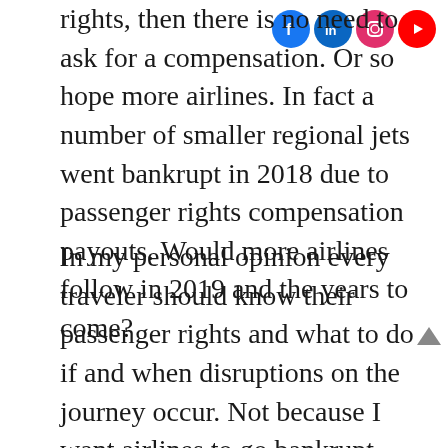rights, then there is no need to ask for a compensation. Or so hope more airlines. In fact a number of smaller regional jets went bankrupt in 2018 due to passenger rights compensation payouts. Would more airlines follow in 2019 and the years to come?
In my personal opinion every traveler should know their passenger rights and what to do if and when disruptions on the journey occur. Not because I want airlines to go bankrupt (on the contrary!) but simply because passenger rights cannot be neglected or forgotten. Travel is a right for all...